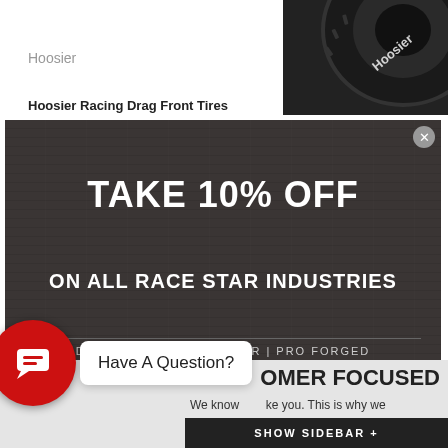Hoosier
Hoosier Racing Drag Front Tires
[Figure (photo): Black Hoosier racing tire, top-right crop]
TAKE 10% OFF
ON ALL RACE STAR INDUSTRIES
DRAG STAR | TRUCK STAR | PRO FORGED
Enter Your Email Address To Receive A Coupon Code For Your Order.
SEND COUPON CODE
If you do not receive a coupon code via email. Contact Us. Offer excludes select brands. Expires 8/31/22
Close Popup
Have A Question?
OMER FOCUSED
SHOW SIDEBAR +
We know                ke you. This is why we